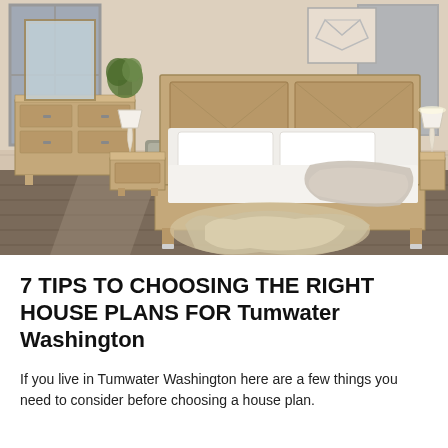[Figure (photo): A modern bedroom with a large wooden bed frame, white bedding with a fur throw, two bedside lamps, a wooden dresser on the left with a mirror, a plant, and dark hardwood floors with a cowhide rug.]
7 TIPS TO CHOOSING THE RIGHT HOUSE PLANS FOR Tumwater Washington
If you live in Tumwater Washington here are a few things you need to consider before choosing a house plan.